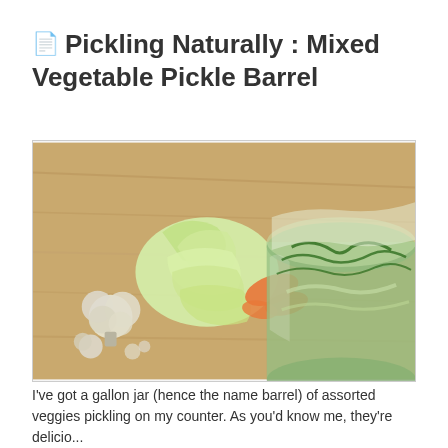📄 Pickling Naturally : Mixed Vegetable Pickle Barrel
[Figure (photo): Overhead photo of assorted fresh vegetables including shredded cabbage, cauliflower florets, and orange carrots on a wooden board, alongside a large glass jar filled with pickled mixed vegetables and dill.]
I've got a gallon jar (hence the name barrel) of assorted veggies pickling on my counter. As you'd know me, they're delicio...